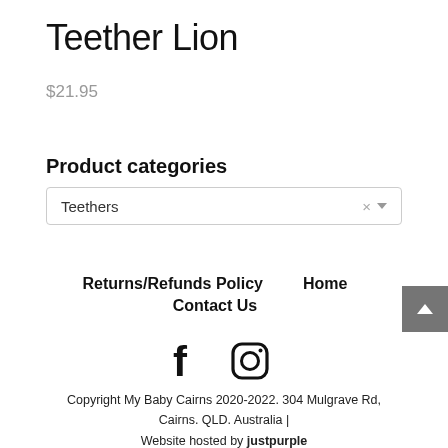Teether Lion
$21.95
Product categories
Teethers
Returns/Refunds Policy
Home
Contact Us
[Figure (illustration): Facebook and Instagram social media icons]
Copyright My Baby Cairns 2020-2022. 304 Mulgrave Rd, Cairns. QLD. Australia | Website hosted by justpurple